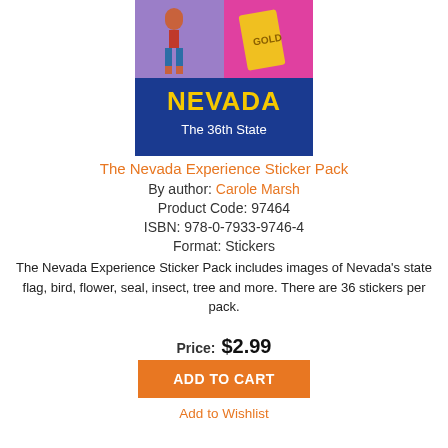[Figure (illustration): Book cover for 'The Nevada Experience Sticker Pack' showing a child figure, gold bar, and text 'NEVADA The 36th State' on a blue background with pink and purple sections]
The Nevada Experience Sticker Pack
By author: Carole Marsh
Product Code: 97464
ISBN: 978-0-7933-9746-4
Format: Stickers
The Nevada Experience Sticker Pack includes images of Nevada's state flag, bird, flower, seal, insect, tree and more. There are 36 stickers per pack.
Price: $2.99
ADD TO CART
Add to Wishlist